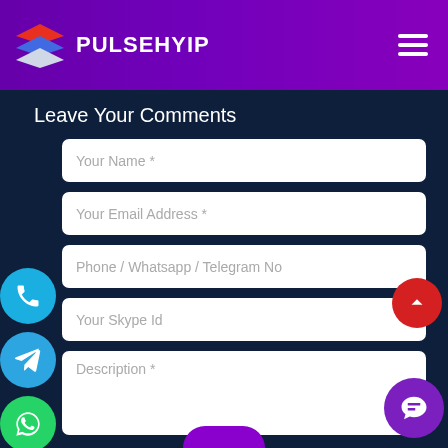PULSEHYIP
Leave Your Comments
Your Name *
Your Email Address *
Phone / Whatsapp / Telegram No
Your Skype Id
Description *